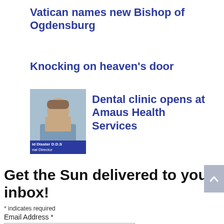Vatican names new Bishop of Ogdensburg
Knocking on heaven's door
[Figure (photo): Thumbnail image of a man, with a blue lower-third caption overlay reading 'id Disster D.D.S' and 'nal Director']
Dental clinic opens at Amaus Health Services
Get the Sun delivered to your inbox!
* indicates required
Email Address *
First Name
Last Name